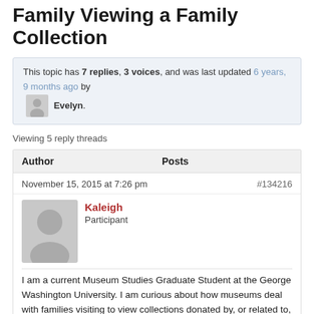Family Viewing a Family Collection
This topic has 7 replies, 3 voices, and was last updated 6 years, 9 months ago by Evelyn.
Viewing 5 reply threads
| Author | Posts |
| --- | --- |
| November 15, 2015 at 7:26 pm | #134216 |
| Kaleigh
Participant |  |
I am a current Museum Studies Graduate Student at the George Washington University. I am curious about how museums deal with families visiting to view collections donated by, or related to, their family. In my experience as an observant intern, the visits were overwhelming and stressful. How do you handle this situation? What are specific policies that are in place to ensure access, while also protecting the collections?